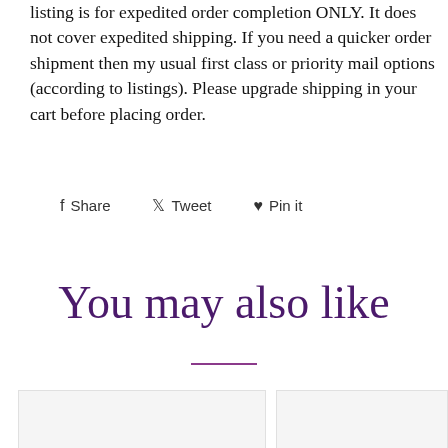listing is for expedited order completion ONLY. It does not cover expedited shipping. If you need a quicker order shipment then my usual first class or priority mail options (according to listings). Please upgrade shipping in your cart before placing order.
Share   Tweet   Pin it
You may also like
[Figure (photo): Two product image placeholders side by side]